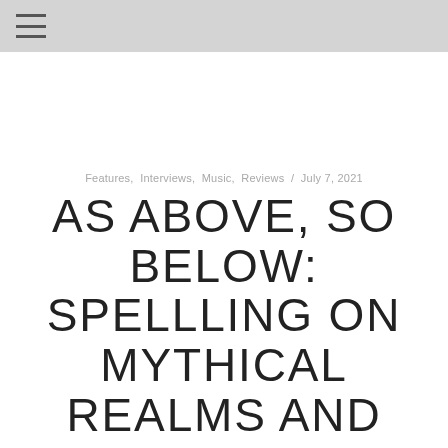≡
Features, Interviews, Music, Reviews / July 7, 2021
AS ABOVE, SO BELOW: SPELLLING ON MYTHICAL REALMS AND NEW ALBUM 'THE TURNING WHEEL'